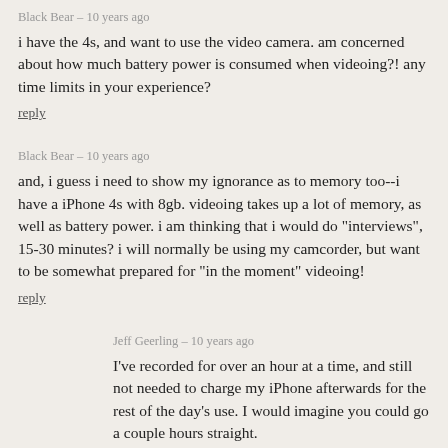Black Bear – 10 years ago
i have the 4s, and want to use the video camera. am concerned about how much battery power is consumed when videoing?! any time limits in your experience?
reply
Black Bear – 10 years ago
and, i guess i need to show my ignorance as to memory too--i have a iPhone 4s with 8gb. videoing takes up a lot of memory, as well as battery power. i am thinking that i would do "interviews", 15-30 minutes? i will normally be using my camcorder, but want to be somewhat prepared for "in the moment" videoing!
reply
Jeff Geerling – 10 years ago
I've recorded for over an hour at a time, and still not needed to charge my iPhone afterwards for the rest of the day's use. I would imagine you could go a couple hours straight.
However, seeing that you have an 8GB iPhone, you'll